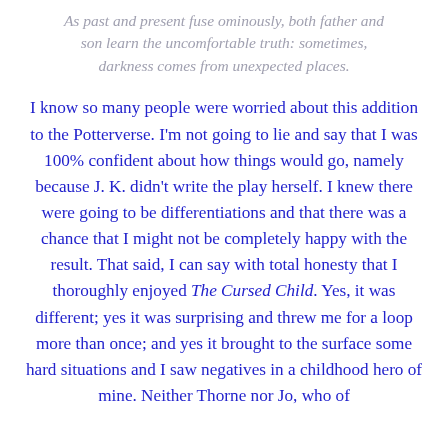As past and present fuse ominously, both father and son learn the uncomfortable truth: sometimes, darkness comes from unexpected places.
I know so many people were worried about this addition to the Potterverse. I'm not going to lie and say that I was 100% confident about how things would go, namely because J. K. didn't write the play herself. I knew there were going to be differentiations and that there was a chance that I might not be completely happy with the result. That said, I can say with total honesty that I thoroughly enjoyed The Cursed Child. Yes, it was different; yes it was surprising and threw me for a loop more than once; and yes it brought to the surface some hard situations and I saw negatives in a childhood hero of mine. Neither Thorne nor Jo, who of